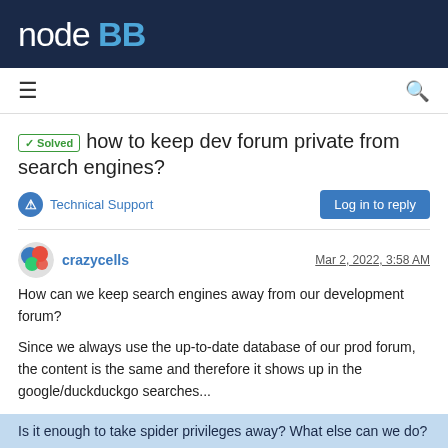nodeBB
✓ Solved  how to keep dev forum private from search engines?
Technical Support
Log in to reply
crazycells   Mar 2, 2022, 3:58 AM
How can we keep search engines away from our development forum?
Since we always use the up-to-date database of our prod forum, the content is the same and therefore it shows up in the google/duckduckgo searches...
Is it enough to take spider privileges away? What else can we do?